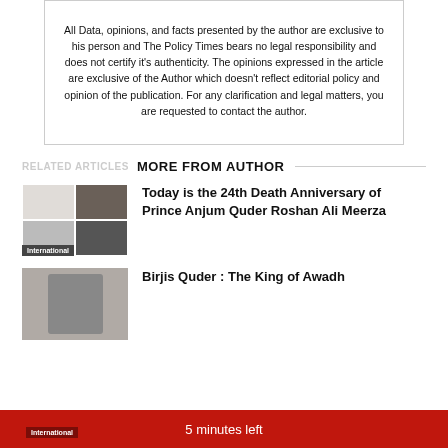All Data, opinions, and facts presented by the author are exclusive to his person and The Policy Times bears no legal responsibility and does not certify it's authenticity. The opinions expressed in the article are exclusive of the Author which doesn't reflect editorial policy and opinion of the publication. For any clarification and legal matters, you are requested to contact the author.
RELATED ARTICLES  MORE FROM AUTHOR
[Figure (photo): Thumbnail image grid showing historical figures, with International badge]
Today is the 24th Death Anniversary of Prince Anjum Quder Roshan Ali Meerza
[Figure (photo): Portrait thumbnail of a historical figure on grey background, with International badge]
Birjis Quder : The King of Awadh
5 minutes left